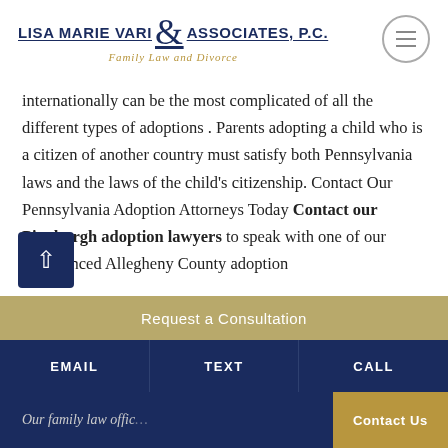[Figure (logo): Lisa Marie Vari & Associates, P.C. — Family Law and Divorce law firm logo with ampersand]
internationally can be the most complicated of all the different types of adoptions . Parents adopting a child who is a citizen of another country must satisfy both Pennsylvania laws and the laws of the child's citizenship. Contact Our Pennsylvania Adoption Attorneys Today Contact our Pittsburgh adoption lawyers to speak with one of our experienced Allegheny County adoption attorneys about your child or family…
Request a Consultation
EMAIL   TEXT   CALL
Our family law offic…   Contact Us